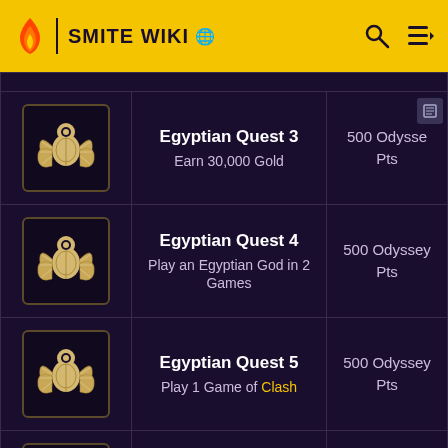SMITE WIKI
| Icon | Quest | Reward |
| --- | --- | --- |
| [scarab icon] | Egyptian Quest 3
Earn 30,000 Gold | 500 Odyssey Pts |
| [scarab icon] | Egyptian Quest 4
Play an Egyptian God in 2 Games | 500 Odyssey Pts |
| [scarab icon] | Egyptian Quest 5
Play 1 Game of Clash | 500 Odyssey Pts |
| [scarab icon] | Egyptian Quest 6
Play 1 Game as Ra | 500 Odyssey Pts |